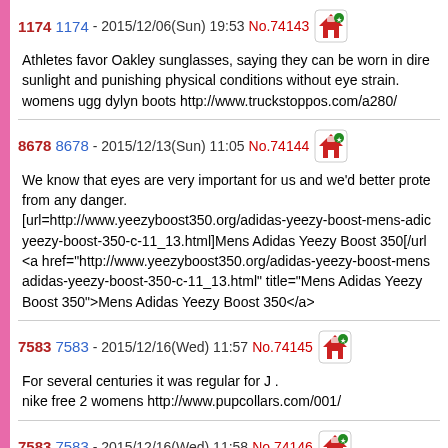1174   1174 - 2015/12/06(Sun) 19:53 No.74143
Athletes favor Oakley sunglasses, saying they can be worn in direct sunlight and punishing physical conditions without eye strain.
womens ugg dylyn boots http://www.truckstoppos.com/a280/
8678   8678 - 2015/12/13(Sun) 11:05 No.74144
We know that eyes are very important for us and we'd better protect from any danger.
[url=http://www.yeezyboost350.org/adidas-yeezy-boost-mens-adidas-yeezy-boost-350-c-11_13.html]Mens Adidas Yeezy Boost 350[/url]
<a href="http://www.yeezyboost350.org/adidas-yeezy-boost-mens-adidas-yeezy-boost-350-c-11_13.html" title="Mens Adidas Yeezy Boost 350">Mens Adidas Yeezy Boost 350</a>
7583   7583 - 2015/12/16(Wed) 11:57 No.74145
For several centuries it was regular for J .
nike free 2 womens http://www.pupcollars.com/001/
7583   7583 - 2015/12/16(Wed) 11:58 No.74146
And global agencies.
nike free 4.0 mens http://www.soundofkoa.com/048/
7583   7583 - 2015/12/16(Wed) 11:59 No.74147